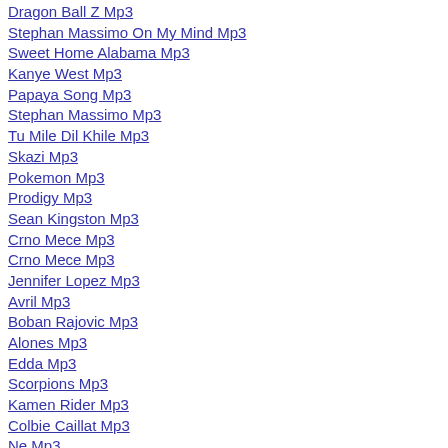Dragon Ball Z Mp3
Stephan Massimo On My Mind Mp3
Sweet Home Alabama Mp3
Kanye West Mp3
Papaya Song Mp3
Stephan Massimo Mp3
Tu Mile Dil Khile Mp3
Skazi Mp3
Pokemon Mp3
Prodigy Mp3
Sean Kingston Mp3
Crno Mece Mp3
Crno Mece Mp3
Jennifer Lopez Mp3
Avril Mp3
Boban Rajovic Mp3
Alones Mp3
Edda Mp3
Scorpions Mp3
Kamen Rider Mp3
Colbie Caillat Mp3
Ne Mp3
Mokinukes Mp3
Disturbed Mp3
Dragon Ball Z Mp3